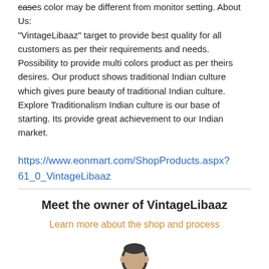cases color may be different from monitor setting. About Us: "VintageLibaaz" target to provide best quality for all customers as per their requirements and needs. Possibility to provide multi colors product as per theirs desires. Our product shows traditional Indian culture which gives pure beauty of traditional Indian culture. Explore Traditionalism Indian culture is our base of starting. Its provide great achievement to our Indian market.
https://www.eonmart.com/ShopProducts.aspx?61_0_VintageLibaaz
Meet the owner of VintageLibaaz
Learn more about the shop and process
[Figure (illustration): Generic silhouette icon of a businessman in a suit with tie, dark gray color]